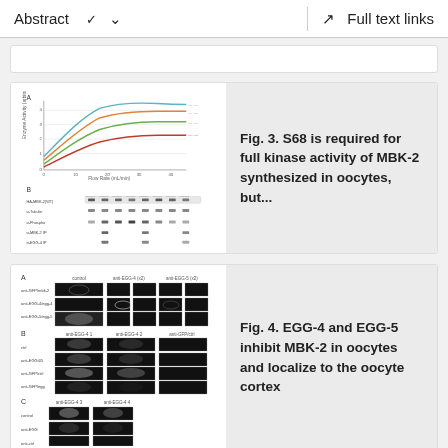Abstract   ∨   Full text links
[Figure (continuous-plot): Fig. 3 panel A: line chart showing kinase activity curves for MBK-2 variants, and panel B: Western blot bands]
Fig. 3. S68 is required for full kinase activity of MBK-2 synthesized in oocytes, but...
[Figure (photo): Fig. 4 panels A, B, C: fluorescence microscopy images of C. elegans oocytes showing EGG-4/EGG-5 and MBK-2 localization]
Fig. 4. EGG-4 and EGG-5 inhibit MBK-2 in oocytes and localize to the oocyte cortex